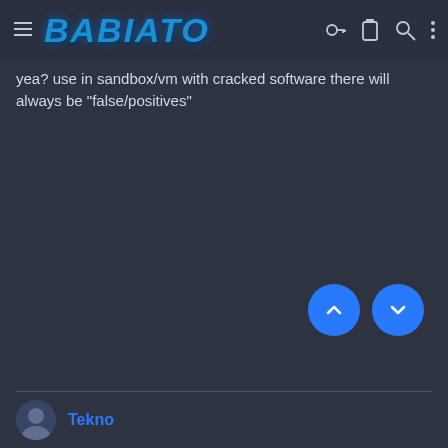BABIATO — navigation bar with hamburger menu, logo, key icon, clipboard icon, search icon, more options icon
yea? use in sandbox/vm with cracked software there will always be "false/positives"
[Figure (other): Two circular blue navigation buttons: one with an up arrow and one with a down arrow, positioned in the lower right area of the content.]
Tekno